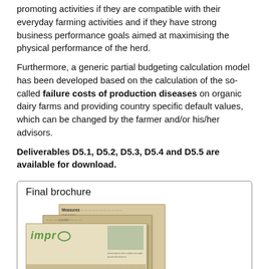promoting activities if they are compatible with their everyday farming activities and if they have strong business performance goals aimed at maximising the physical performance of the herd.
Furthermore, a generic partial budgeting calculation model has been developed based on the calculation of the so-called failure costs of production diseases on organic dairy farms and providing country specific default values, which can be changed by the farmer and/or his/her advisors.
Deliverables D5.1, D5.2, D5.3, D5.4 and D5.5 are available for download.
Final brochure
[Figure (photo): Stacked brochure images showing the impr project final brochure with the impr logo visible on the front cover, cattle imagery in the background, and text content on the pages.]